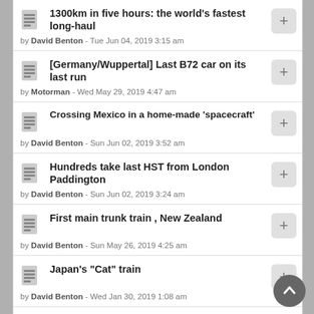1300km in five hours: the world's fastest long-haul by David Benton - Tue Jun 04, 2019 3:15 am
[Germany/Wuppertal] Last B72 car on its last run by Motorman - Wed May 29, 2019 4:47 am
Crossing Mexico in a home-made 'spacecraft' by David Benton - Sun Jun 02, 2019 3:52 am
Hundreds take last HST from London Paddington by David Benton - Sun Jun 02, 2019 3:24 am
First main trunk train , New Zealand by David Benton - Sun May 26, 2019 4:25 am
Japan's "Cat" train by David Benton - Wed Jan 30, 2019 1:08 am
China unveils 600km/h maglev train prototype